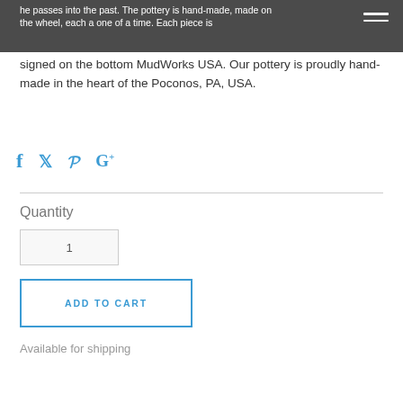he passes into the past. The pottery is hand-made, made on the wheel, each a one of a lime. Each piece is signed on the bottom MudWorks USA. Our pottery is proudly hand-made in the heart of the Poconos, PA, USA.
signed on the bottom MudWorks USA. Our pottery is proudly hand-made in the heart of the Poconos, PA, USA.
[Figure (other): Social media share icons: Facebook (f), Twitter (bird), Pinterest (P), Google Plus (G+) in blue]
Quantity
1
ADD TO CART
Available for shipping